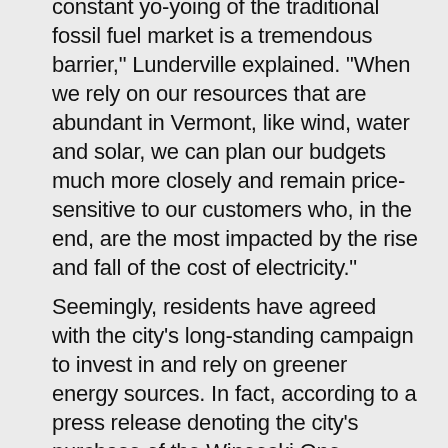constant yo-yoing of the traditional fossil fuel market is a tremendous barrier," Lunderville explained. "When we rely on our resources that are abundant in Vermont, like wind, water and solar, we can plan our budgets much more closely and remain price-sensitive to our customers who, in the end, are the most impacted by the rise and fall of the cost of electricity."
Seemingly, residents have agreed with the city's long-standing campaign to invest in and rely on greener energy sources. In fact, according to a press release denoting the city's purchase of the Winooski One Hydroelectric Facility